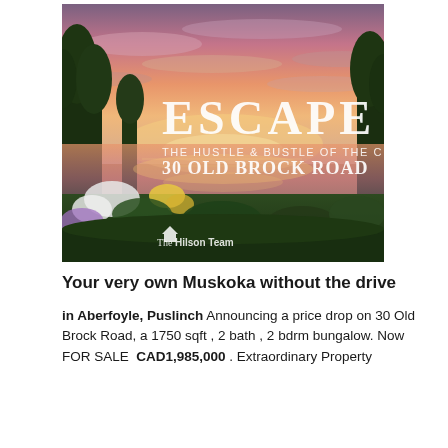[Figure (photo): Scenic sunset photo over a pond with lush garden flowers and trees. Overlaid text reads 'ESCAPE THE HUSTLE & BUSTLE OF THE CITY 30 OLD BROCK ROAD' with 'The Hilson Team' logo in the lower left.]
Your very own Muskoka without the drive
in Aberfoyle, Puslinch Announcing a price drop on 30 Old Brock Road, a 1750 sqft , 2 bath , 2 bdrm bungalow. Now FOR SALE  CAD1,985,000 . Extraordinary Property